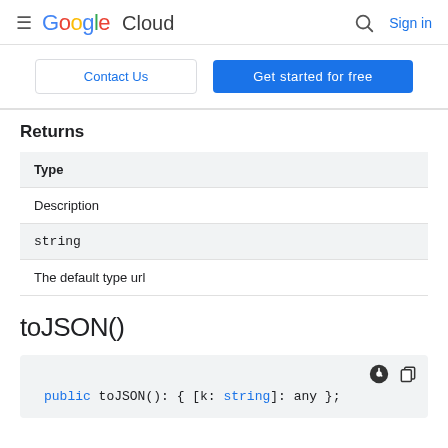Google Cloud  Sign in
Contact Us  Get started for free
Returns
| Type | Description |
| --- | --- |
| string | The default type url |
toJSON()
public toJSON(): { [k: string]: any };